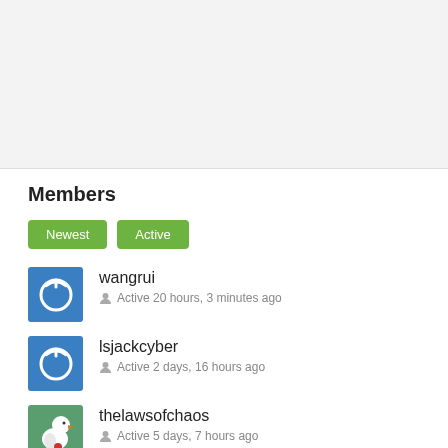Members
Newest
Active
wangrui
Active 20 hours, 3 minutes ago
lsjackcyber
Active 2 days, 16 hours ago
thelawsofchaos
Active 5 days, 7 hours ago
SplunkNinja